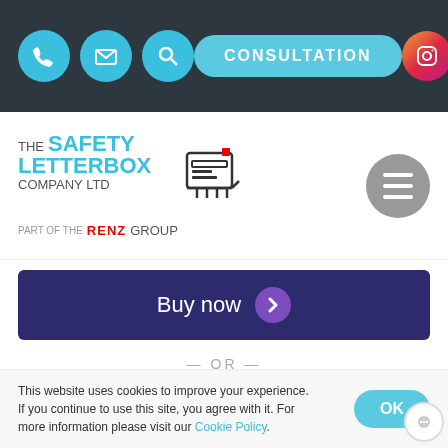[Figure (screenshot): Website top navigation bar with phone, email, search icons, consultation button, and social media icons (Instagram, Pinterest, LinkedIn)]
[Figure (logo): The Safety Letterbox Company Ltd logo, part of the RENZ GROUP]
[Figure (screenshot): Buy now button with purple chevron arrow, dark navy background]
— OR —
[Figure (screenshot): Add to basket button, light blue rounded rectangle]
IN STOCK
This website uses cookies to improve your experience. If you continue to use this site, you agree with it. For more information please visit our Cookie Policy.